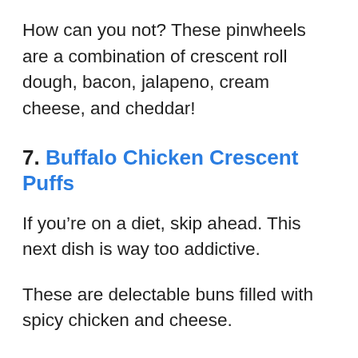How can you not? These pinwheels are a combination of crescent roll dough, bacon, jalapeno, cream cheese, and cheddar!
7. Buffalo Chicken Crescent Puffs
If you're on a diet, skip ahead. This next dish is way too addictive.
These are delectable buns filled with spicy chicken and cheese.
They're puffy and buttery on the outside